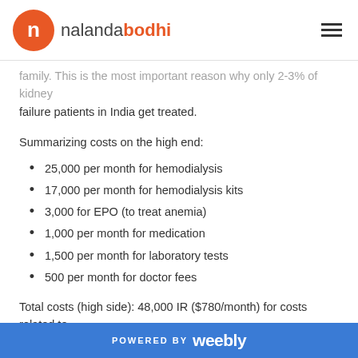nalandabodhi
family. This is the most important reason why only 2-3% of kidney failure patients in India get treated.
Summarizing costs on the high end:
25,000 per month for hemodialysis
17,000 per month for hemodialysis kits
3,000 for EPO (to treat anemia)
1,000 per month for medication
1,500 per month for laboratory tests
500 per month for doctor fees
Total costs (high side): 48,000 IR ($780/month) for costs related to preparing for surgery.
POWERED BY weebly